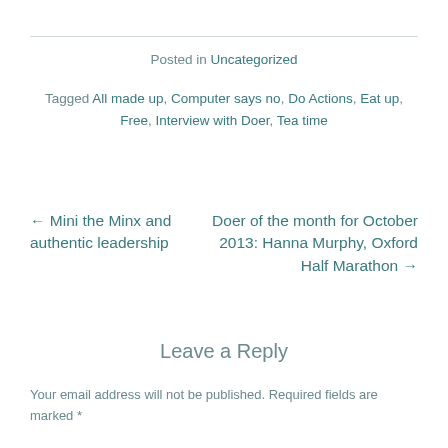Posted in Uncategorized
Tagged All made up, Computer says no, Do Actions, Eat up, Free, Interview with Doer, Tea time
← Mini the Minx and authentic leadership
Doer of the month for October 2013: Hanna Murphy, Oxford Half Marathon →
Leave a Reply
Your email address will not be published. Required fields are marked *